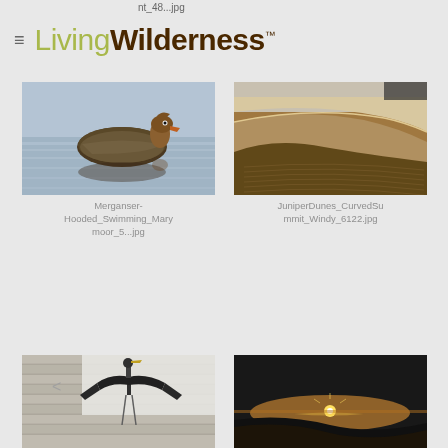nt_48...jpg — LivingWilderness™
[Figure (photo): Hooded Merganser duck swimming on calm water with reflection]
Merganser-Hooded_Swimming_Marymoor_5...jpg
[Figure (photo): Sand dunes with curved ridge and rippled texture, warm golden light]
JuniperDunes_CurvedSummit_Windy_6122.jpg
[Figure (photo): Great Blue Heron with wings spread, standing on dock planks]
[Figure (photo): Sand dunes at sunset with bright sun on horizon]